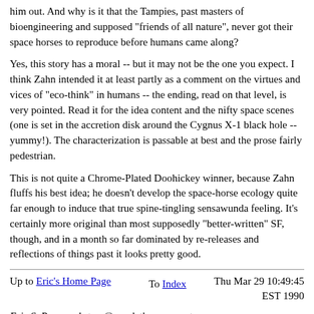him out. And why is it that the Tampies, past masters of bioengineering and supposed "friends of all nature", never got their space horses to reproduce before humans came along?
Yes, this story has a moral -- but it may not be the one you expect. I think Zahn intended it at least partly as a comment on the virtues and vices of "eco-think" in humans -- the ending, read on that level, is very pointed. Read it for the idea content and the nifty space scenes (one is set in the accretion disk around the Cygnus X-1 black hole -- yummy!). The characterization is passable at best and the prose fairly pedestrian.
This is not quite a Chrome-Plated Doohickey winner, because Zahn fluffs his best idea; he doesn't develop the space-horse ecology quite far enough to induce that true spine-tingling sensawunda feeling. It's certainly more original than most supposedly "better-written" SF, though, and in a month so far dominated by re-releases and reflections of things past it looks pretty good.
Up to Eric's Home Page    To Index    Thu Mar 29 10:49:45 EST 1990
Eric S. Raymond <esr@snark.thyrsus.com>